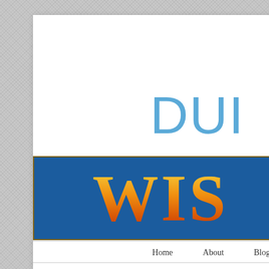DUI
[Figure (logo): Law firm logo banner with blue background and orange/gold gradient text showing 'WIS' (partially visible)]
Home   About   Blog
Santa Fe DUI Lawyers
POSTED ON JANUARY 16, 2018 BY DOUGLAS ADAMS